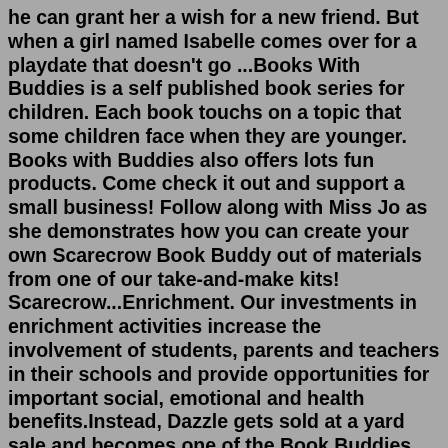he can grant her a wish for a new friend. But when a girl named Isabelle comes over for a playdate that doesn't go ...Books With Buddies is a self published book series for children. Each book touchs on a topic that some children face when they are younger. Books with Buddies also offers lots fun products. Come check it out and support a small business! Follow along with Miss Jo as she demonstrates how you can create your own Scarecrow Book Buddy out of materials from one of our take-and-make kits! Scarecrow...Enrichment. Our investments in enrichment activities increase the involvement of students, parents and teachers in their schools and provide opportunities for important social, emotional and health benefits.Instead, Dazzle gets sold at a yard sale and becomes one of the Book Buddies, friendly toys that children can check out of the library just like books. Meanwhile, Maya has just moved to town and decides to borrow Dazzle, hoping he can grant her a wish for a new friend. Book Buddies | St. Louis County Library Book Buddies Book Buddies pairs